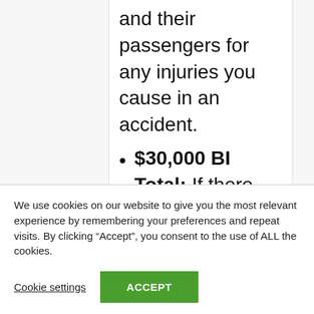and their passengers for any injuries you cause in an accident.
$30,000 BI Total: If there are multiple injuries from an at-fault collision, this is what your insurance will pay.
$5,000 Property Damage
We use cookies on our website to give you the most relevant experience by remembering your preferences and repeat visits. By clicking “Accept”, you consent to the use of ALL the cookies.
Cookie settings
ACCEPT